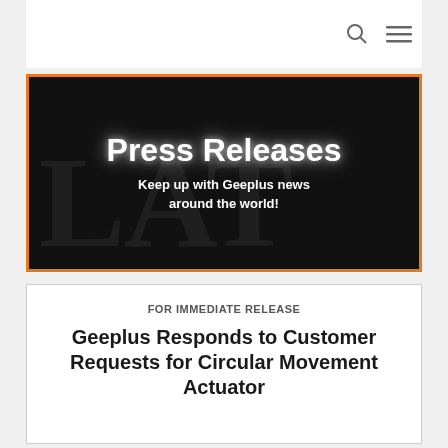[Figure (photo): Press Releases hero banner with dark newspaper background. Title: 'Press Releases'. Subtitle: 'Keep up with Geeplus news around the world!']
Press Releases
Keep up with Geeplus news around the world!
FOR IMMEDIATE RELEASE
Geeplus Responds to Customer Requests for Circular Movement Actuator